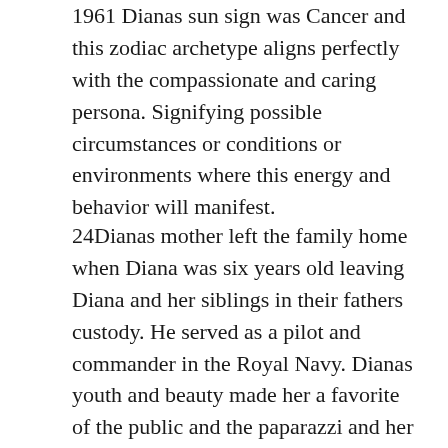1961 Dianas sun sign was Cancer and this zodiac archetype aligns perfectly with the compassionate and caring persona. Signifying possible circumstances or conditions or environments where this energy and behavior will manifest.
24Dianas mother left the family home when Diana was six years old leaving Diana and her siblings in their fathers custody. He served as a pilot and commander in the Royal Navy. Dianas youth and beauty made her a favorite of the public and the paparazzi and her personal life was frequent.